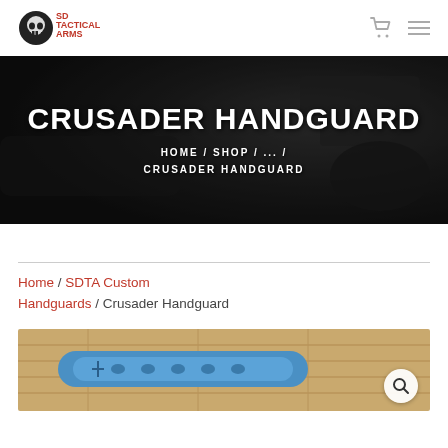SD Tactical Arms logo with cart and menu icons
[Figure (photo): Dark hero banner with firearms background showing the Crusader Handguard product page title and breadcrumb navigation]
CRUSADER HANDGUARD
HOME / SHOP / ... / CRUSADER HANDGUARD
Home / SDTA Custom Handguards / Crusader Handguard
[Figure (photo): Product photo of a blue Crusader Handguard on a wooden surface with a magnifying glass search icon overlay]